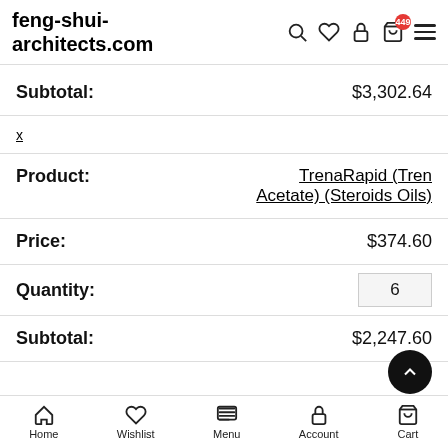feng-shui-architects.com
| Subtotal: | $3,302.64 |
| x |  |
| Product: | TrenaRapid (Tren Acetate) (Steroids Oils) |
| Price: | $374.60 |
| Quantity: | 6 |
| Subtotal: | $2,247.60 |
Home   Wishlist   Menu   Account   Cart